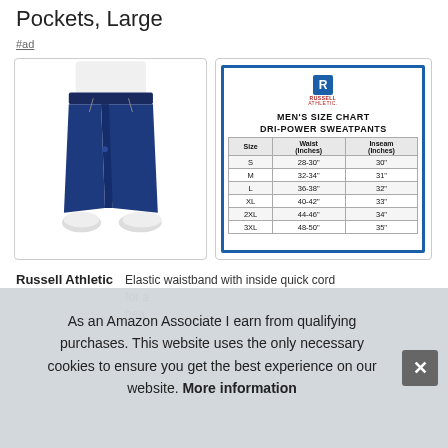Pockets, Large
#ad
[Figure (photo): Man wearing navy blue sweatpants with white sneakers, showing the lower half of the body]
[Figure (table-as-image): Russell Athletic Men's Size Chart for Dri-Power Sweatpants showing Size, Waist (Inches), and Inseam (Inches) for S, M, L, XL, 2XL, 3XL]
Russell Athletic   Elastic waistband with inside quick cord for a... hea...
As an Amazon Associate I earn from qualifying purchases. This website uses the only necessary cookies to ensure you get the best experience on our website. More information